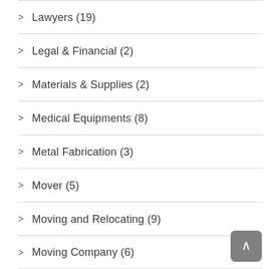Lawyers (19)
Legal & Financial (2)
Materials & Supplies (2)
Medical Equipments (8)
Metal Fabrication (3)
Mover (5)
Moving and Relocating (9)
Moving Company (6)